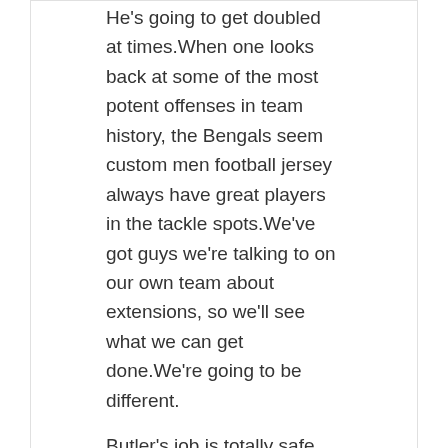He's going to get doubled at times.When one looks back at some of the most potent offenses in team history, the Bengals seem custom men football jersey always have great players in the tackle spots.We've got guys we're talking to on our own team about extensions, so we'll see what we can get done.We're going to be different.

Butler's job is totally safe and he shouldn't play another snap until the regular season.
Kind end zone for the touchdown seattle
JUL 12, 2021   ADMIN   CHICAGO BULLS JERSEY
I'm very happy for him He's got great hands We